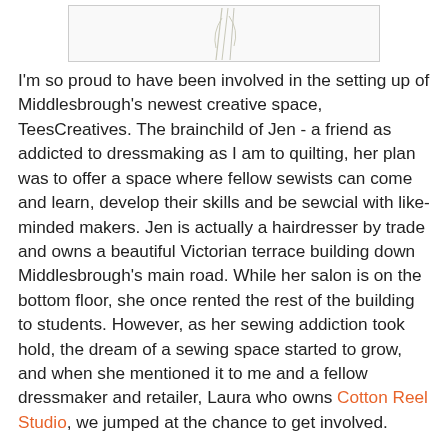[Figure (illustration): Partial illustration of decorative line drawing at top of page, cropped]
I'm so proud to have been involved in the setting up of Middlesbrough's newest creative space, TeesCreatives. The brainchild of Jen - a friend as addicted to dressmaking as I am to quilting, her plan was to offer a space where fellow sewists can come and learn, develop their skills and be sewcial with like-minded makers. Jen is actually a hairdresser by trade and owns a beautiful Victorian terrace building down Middlesbrough's main road. While her salon is on the bottom floor, she once rented the rest of the building to students. However, as her sewing addiction took hold, the dream of a sewing space started to grow, and when she mentioned it to me and a fellow dressmaker and retailer, Laura who owns Cotton Reel Studio, we jumped at the chance to get involved.